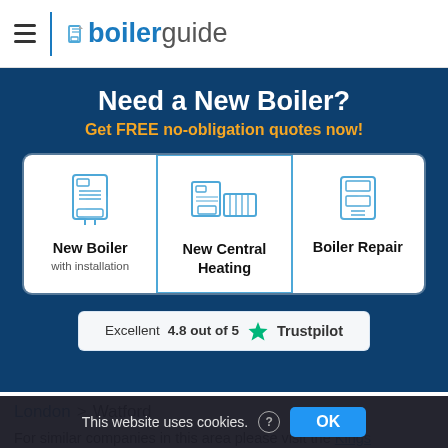boilerguide (logo with hamburger menu)
Need a New Boiler?
Get FREE no-obligation quotes now!
[Figure (infographic): Three clickable cards: 'New Boiler with installation', 'New Central Heating', 'Boiler Repair', each with a blue line-art icon of boiler equipment]
Excellent 4.8 out of 5  Trustpilot
London > Watford
For similar companies in this area please visit the Kings [link]
This website uses cookies. ? OK